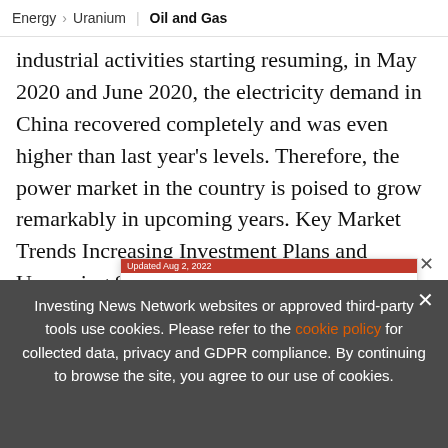Energy > Uranium | Oil and Gas
industrial activities starting resuming, in May 2020 and June 2020, the electricity demand in China recovered completely and was even higher than last year's levels. Therefore, the power market in the country is poised to grow remarkably in upcoming years. Key Market Trends Increasing Investment Plans and Upcoming Smart Grid Proj... the worl... and distribution (T&D) and is also expected to be...
[Figure (screenshot): Advertisement banner: Updated Aug 2, 2022. TOP URANIUM Stocks, Trends, Forecasts. 2022 Uranium Outlook Report. INN logo. Uranium Outlook 2022 logo.]
Investing News Network websites or approved third-party tools use cookies. Please refer to the cookie policy for collected data, privacy and GDPR compliance. By continuing to browse the site, you agree to our use of cookies.